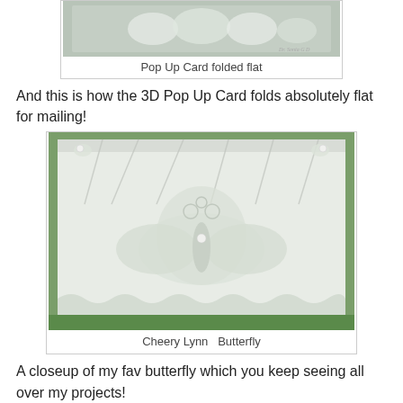[Figure (photo): Pop Up Card folded flat — white embossed butterfly card laid flat, photographed outdoors]
Pop Up Card folded flat
And this is how the 3D Pop Up Card folds absolutely flat for mailing!
[Figure (photo): Cheery Lynn Butterfly — closeup of a white intricate laser-cut butterfly die cut on a decorative card with scalloped border, photographed against greenery]
Cheery Lynn  Butterfly
A closeup of my fav butterfly which you keep seeing all over my projects!
Pop Up Card tutorial
Here you can learn more about finding Pop Up Card and...